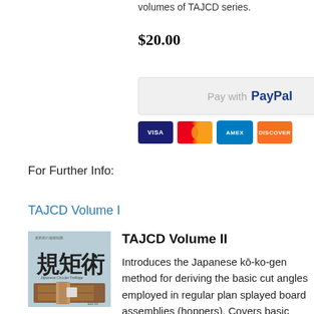volumes of TAJCD series.
$20.00
[Figure (screenshot): PayPal payment button with credit card icons (VISA, Mastercard, AMEX, Discover)]
For Further Info:
TAJCD Volume I
[Figure (photo): Book cover of TAJCD Volume II showing Japanese text 規矩術 and wooden joinery illustration]
TAJCD Volume II
Introduces the Japanese kō-ko-gen method for deriving the basic cut angles employed in regular plan splayed board assemblies (hoppers). Covers basic bottom board site along